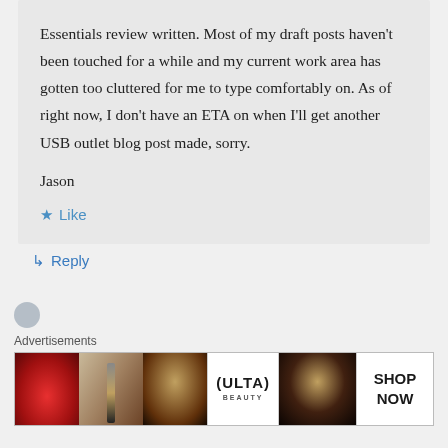Essentials review written. Most of my draft posts haven't been touched for a while and my current work area has gotten too cluttered for me to type comfortably on. As of right now, I don't have an ETA on when I'll get another USB outlet blog post made, sorry.
Jason
★ Like
↳ Reply
[Figure (screenshot): Advertisement banner showing Ulta Beauty cosmetics ad with images of lips, makeup brush, eyes, Ulta Beauty logo, and a SHOP NOW button]
Advertisements